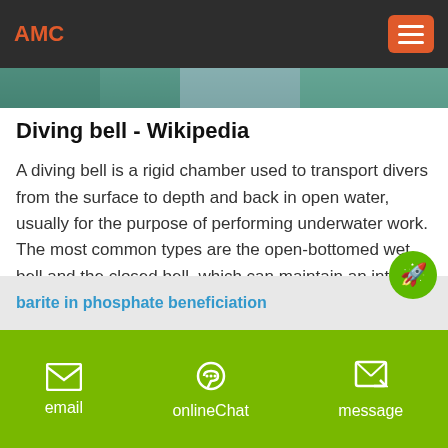AMC
[Figure (screenshot): Partial image strip showing underwater/nature scene]
Diving bell - Wikipedia
A diving bell is a rigid chamber used to transport divers from the surface to depth and back in open water, usually for the purpose of performing underwater work. The most common types are the open-bottomed wet bell and the closed bell, which can maintain an internal pressure greater than the external ambient. Diving bells are usually suspended by a cable, and lifted and lowered by a winch ...
[Figure (illustration): Cyan circle with white right-arrow indicating a link/navigation button]
barite in phosphate beneficiation
email   onlineChat   message